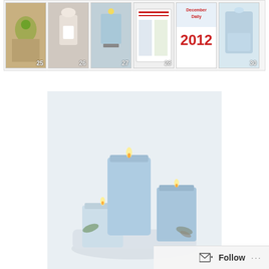[Figure (screenshot): Horizontal thumbnail strip showing 6 small images numbered 25, 26, 27, 28 (December Daily 2012), 30, including candles, bottles, and a calendar-style cover]
[Figure (photo): Three light blue frosted pillar candles arranged on a white rectangular tray with small sprigs of greenery/lavender]
So onto today's post.  Frosted candles.  I found this tutorial on the Martha Stewart website via Pinterest and then a friend shared the craft with me at a Pinterest party.  And I wanted to share it with you.  It's super easy, really inexpensive and leaves you with a very elegant candle that